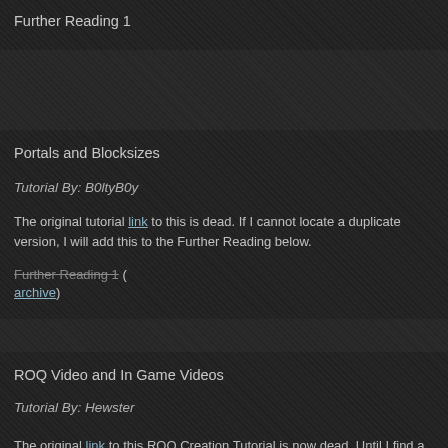Further Reading 1
Portals and Blocksizes
Tutorial By: B0ltyB0y
The original tutorial link to this is dead. If I cannot locate a duplicate version, I will add this to the Further Reading below.
Further Reading 1 ( archive)
ROQ Video and In Game Videos
Tutorial By: Hewster
The original link to this ROQ Creation Tutorial is now dead. Until I find a duplicate, I've mirrored it here.
Additionally, you can use the following to play a .roq movie inside a map v